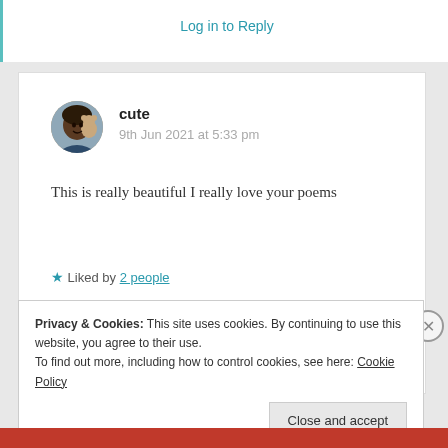Log in to Reply
[Figure (photo): Circular avatar photo of a young person with a teddy bear]
cute
9th Jun 2021 at 5:33 pm
This is really beautiful I really love your poems
★ Liked by 2 people
Log in to Reply
Privacy & Cookies: This site uses cookies. By continuing to use this website, you agree to their use.
To find out more, including how to control cookies, see here: Cookie Policy
Close and accept